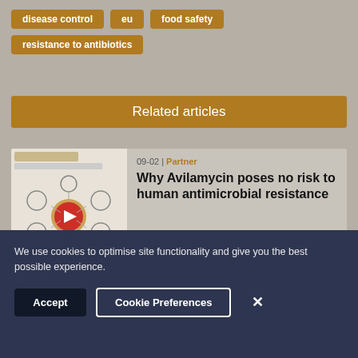disease control
eu
food safety
resistance to antibiotics
Related articles
[Figure (screenshot): Thumbnail image for article about Avilamycin antimicrobial resistance with infographic showing molecular connections and a play button overlay]
09-02 | Partner
Why Avilamycin poses no risk to human antimicrobial resistance
17-01 | News
We use cookies to optimise site functionality and give you the best possible experience.
Accept
Cookie Preferences